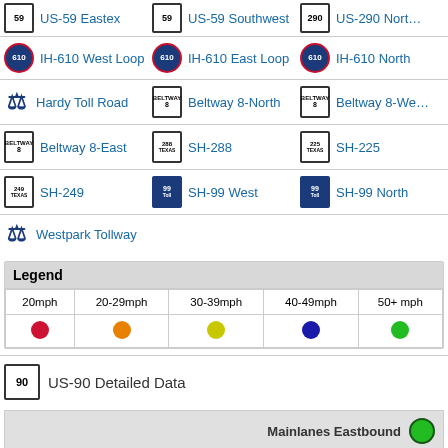US-59 Eastex, US-59 Southwest, US-290 North
IH-610 West Loop, IH-610 East Loop, IH-610 North
Hardy Toll Road, Beltway 8-North, Beltway 8-West
Beltway 8-East, SH-288, SH-225
SH-249, SH-99 West, SH-99 North
Westpark Tollway
| Legend |
| --- |
| 20mph | 20-29mph | 30-39mph | 40-49mph | 50+ mph |
|  red dot |  orange dot |  yellow dot |  blue dot |  green dot |
US-90 Detailed Data
Mainlanes Eastbound